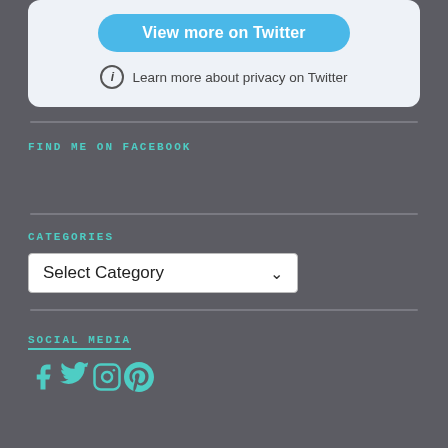[Figure (screenshot): Twitter widget card with 'View more on Twitter' blue button and 'Learn more about privacy on Twitter' info link]
FIND ME ON FACEBOOK
CATEGORIES
Select Category
SOCIAL MEDIA
[Figure (infographic): Social media icons: Facebook, Twitter, Instagram, Pinterest in teal/cyan color]